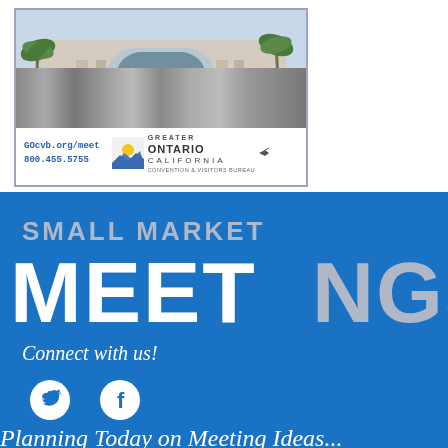[Figure (photo): Advertisement for Greater Ontario California Convention & Visitors Bureau. Shows a photo of a convention center exterior with palm trees and arched architecture. A purple 'Meet Now!' badge overlays the bottom of the photo. Below the photo: 'GOcvb.org/meet' and '800.455.5755' in blue text, alongside the Greater Ontario California logo with a stylized sun and mountains icon.]
[Figure (illustration): Blue background section with 'SMALL MARKET' in gray uppercase text above large 'MEETINGS' in white and gray. Below: 'Connect with us!' in italic white text, two circular social media icons (Twitter bird, Facebook f), and partially visible text 'Planning Today on Meeting Ideas' at the bottom.]